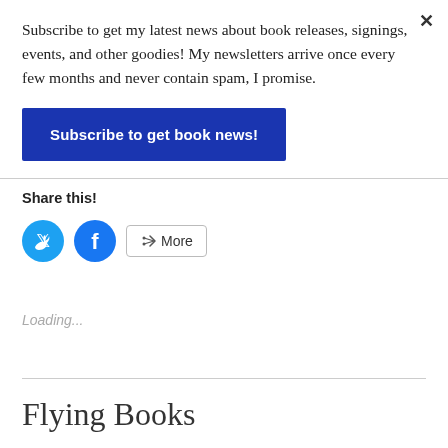×
Subscribe to get my latest news about book releases, signings, events, and other goodies! My newsletters arrive once every few months and never contain spam, I promise.
Subscribe to get book news!
Share this!
[Figure (other): Twitter bird icon (blue circle), Facebook f icon (blue circle), More button with share icon]
Loading...
Flying Books